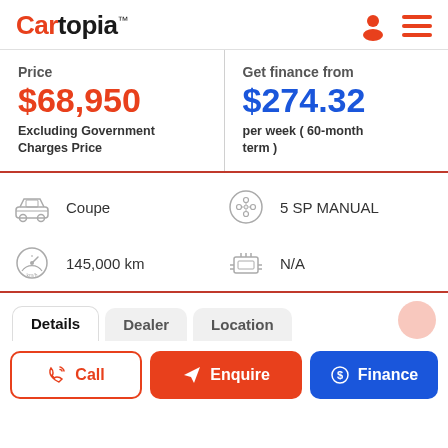Cartopia
Price
$68,950
Excluding Government Charges Price
Get finance from
$274.32
per week ( 60-month term )
Coupe
5 SP MANUAL
145,000 km
N/A
Details  Dealer  Location
Call  Enquire  Finance